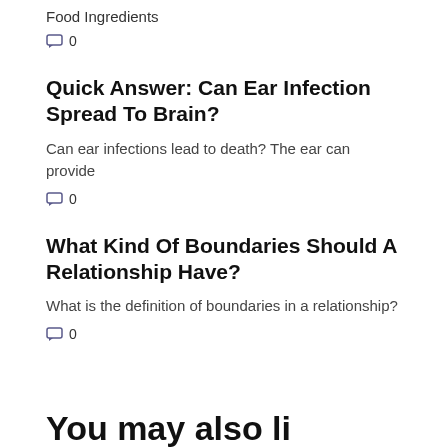Food Ingredients
0
Quick Answer: Can Ear Infection Spread To Brain?
Can ear infections lead to death? The ear can provide
0
What Kind Of Boundaries Should A Relationship Have?
What is the definition of boundaries in a relationship?
0
You may also like